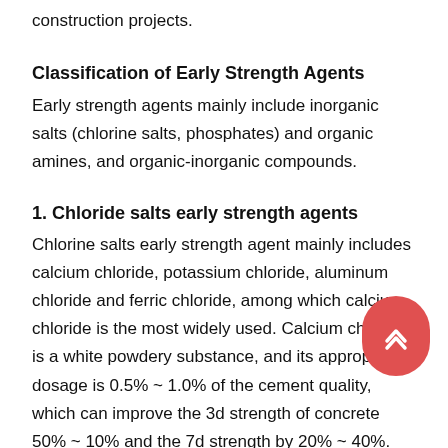construction projects.
Classification of Early Strength Agents
Early strength agents mainly include inorganic salts (chlorine salts, phosphates) and organic amines, and organic-inorganic compounds.
1. Chloride salts early strength agents
Chlorine salts early strength agent mainly includes calcium chloride, potassium chloride, aluminum chloride and ferric chloride, among which calcium chloride is the most widely used. Calcium chloride is a white powdery substance, and its appropriate dosage is 0.5% ~ 1.0% of the cement quality, which can improve the 3d strength of concrete 50% ~ 10% and the 7d strength by 20% ~ 40%.
Meanwhile, it can reduce the freezing point of water in